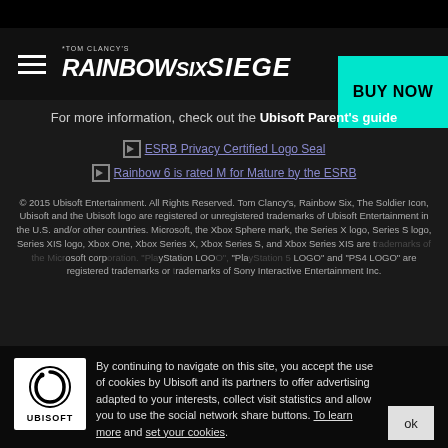Tom Clancy's Rainbow Six Siege — BUY NOW
For more information, check out the Ubisoft Parent's guide
[Figure (logo): ESRB Privacy Certified Logo Seal image link]
[Figure (logo): Rainbow 6 is rated M for Mature by the ESRB image link]
© 2015 Ubisoft Entertainment. All Rights Reserved. Tom Clancy's, Rainbow Six, The Soldier Icon, Ubisoft and the Ubisoft logo are registered or unregistered trademarks of Ubisoft Entertainment in the U.S. and/or other countries. Microsoft, the Xbox Sphere mark, the Series X logo, Series S logo, Series XIS logo, Xbox One, Xbox Series X, Xbox Series S, and Xbox Series XIS are trademarks of the Microsoft corporation. "PlayStation LOGO", "PlayStation 5 LOGO" and "PS4 LOGO" are registered trademarks or trademarks of Sony Interactive Entertainment Inc.
By continuing to navigate on this site, you accept the use of cookies by Ubisoft and its partners to offer advertising adapted to your interests, collect visit statistics and allow you to use the social network share buttons. To learn more and set your cookies.